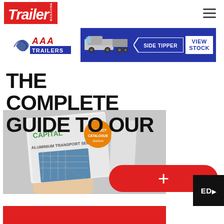Trailer MAGAZINE
[Figure (illustration): AAA Trailers advertisement banner — blue background with white logo section showing AAA Trailers branding, a side tipper truck image, SIDE TIPPER label with arrow, and VIEW STOCK button]
THE COMPLETE GUIDE TO OUR
[Figure (photo): Hand holding a Capital Aluminium Transport Sections brochure/catalog with orange circular badge and building image on cover, against grey background. Red pill-shaped button with plus sign overlaid at bottom right.]
[Figure (other): ED cursor badge in black box at bottom right corner]
[Figure (other): Red bar at bottom of page]